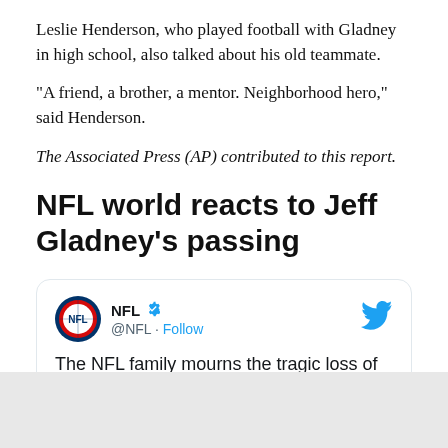Leslie Henderson, who played football with Gladney in high school, also talked about his old teammate.
"A friend, a brother, a mentor. Neighborhood hero," said Henderson.
The Associated Press (AP) contributed to this report.
NFL world reacts to Jeff Gladney's passing
[Figure (screenshot): Embedded tweet from NFL official account (@NFL) with verified checkmark and Follow button. Tweet text reads: 'The NFL family mourns the tragic loss of Jeff'. Twitter bird logo visible top right. Close button (x) at bottom right of card.]